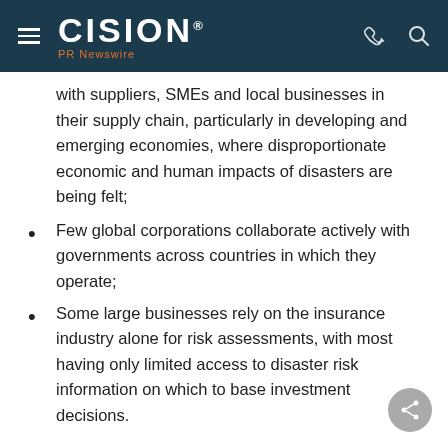CISION PR Newswire
with suppliers, SMEs and local businesses in their supply chain, particularly in developing and emerging economies, where disproportionate economic and human impacts of disasters are being felt;
Few global corporations collaborate actively with governments across countries in which they operate;
Some large businesses rely on the insurance industry alone for risk assessments, with most having only limited access to disaster risk information on which to base investment decisions.